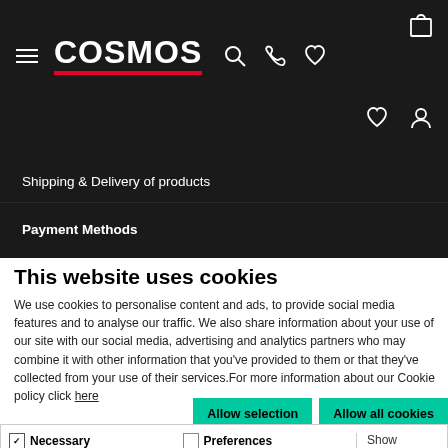[Figure (screenshot): COSMOS website header with logo, navigation icons (hamburger menu, search, phone, heart, bag), and two navigation links: Shipping & Delivery of products, and Payment Methods on dark background]
This website uses cookies
We use cookies to personalise content and ads, to provide social media features and to analyse our traffic. We also share information about your use of our site with our social media, advertising and analytics partners who may combine it with other information that you've provided to them or that they've collected from your use of their services.For more information about our Cookie policy click here
Allow selection   Allow all cookies
✓ Necessary   □ Preferences   □ Statistics   □ Marketing   Show details ∨